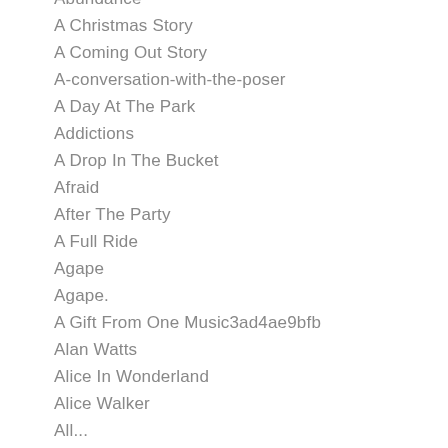Abundance
A Christmas Story
A Coming Out Story
A-conversation-with-the-poser
A Day At The Park
Addictions
A Drop In The Bucket
Afraid
After The Party
A Full Ride
Agape
Agape.
A Gift From One Music3ad4ae9bfb
Alan Watts
Alice In Wonderland
Alice Walker
All...